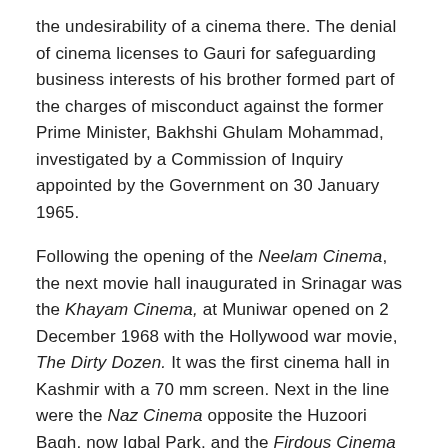the undesirability of a cinema there. The denial of cinema licenses to Gauri for safeguarding business interests of his brother formed part of the charges of misconduct against the former Prime Minister, Bakhshi Ghulam Mohammad, investigated by a Commission of Inquiry appointed by the Government on 30 January 1965.
Following the opening of the Neelam Cinema, the next movie hall inaugurated in Srinagar was the Khayam Cinema, at Muniwar opened on 2 December 1968 with the Hollywood war movie, The Dirty Dozen. It was the first cinema hall in Kashmir with a 70 mm screen. Next in the line were the Naz Cinema opposite the Huzoori Bagh, now Iqbal Park, and the Firdous Cinema at